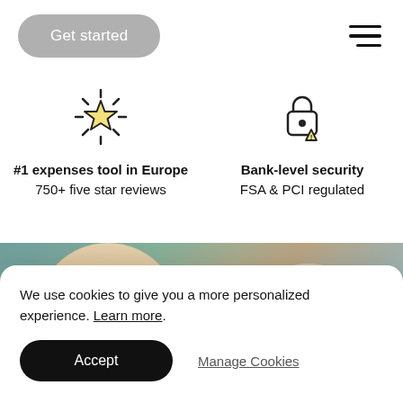Get started
[Figure (illustration): Hamburger menu icon with three horizontal lines]
[Figure (illustration): Glowing star icon representing #1 ranking]
#1 expenses tool in Europe
750+ five star reviews
[Figure (illustration): Padlock with warning icon representing bank-level security]
Bank-level security
FSA & PCI regulated
[Figure (photo): Two smiling women in a cafe or office setting with plants and brick wall in background]
We use cookies to give you a more personalized experience. Learn more.
Accept
Manage Cookies